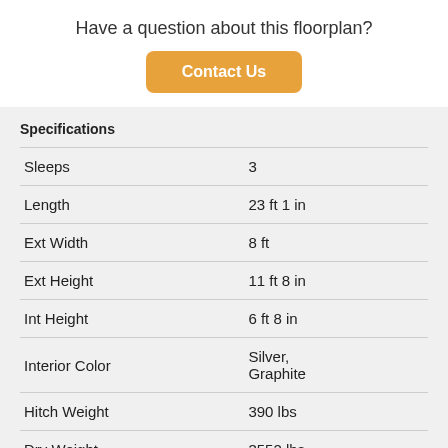Have a question about this floorplan?
Contact Us
Specifications
|  |  |
| --- | --- |
| Sleeps | 3 |
| Length | 23 ft 1 in |
| Ext Width | 8 ft |
| Ext Height | 11 ft 8 in |
| Int Height | 6 ft 8 in |
| Interior Color | Silver, Graphite |
| Hitch Weight | 390 lbs |
| Dry Weight | 3552 lbs |
| Cargo Weight | 1238 lbs |